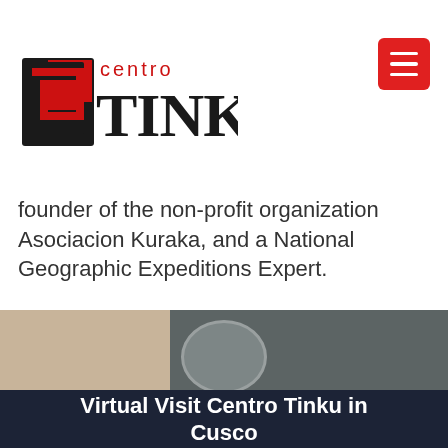[Figure (logo): Centro Tinku logo with stylized spiral square icon in black/red and text 'centro TINKU']
founder of the non-profit organization Asociacion Kuraka, and a National Geographic Expeditions Expert.
[Figure (photo): Photo strip showing partial image - beige/tan left side and dark gray right side with circular/oval accent element]
[Figure (photo): Dark overlay image of a nighttime street scene in Cusco]
Virtual Visit Centro Tinku in Cusco